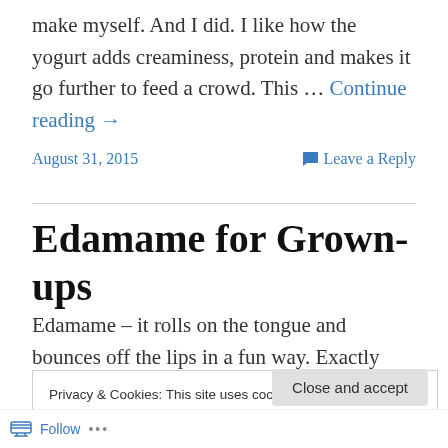make myself. And I did. I like how the yogurt adds creaminess, protein and makes it go further to feed a crowd. This … Continue reading →
August 31, 2015    Leave a Reply
Edamame for Grown-ups
Edamame – it rolls on the tongue and bounces off the lips in a fun way. Exactly what is it? Immature soybeans. That sounds so judgmental. Let's call them "baby" soybeans.
Privacy & Cookies: This site uses cookies. By continuing to use this website, you agree to their use.
To find out more, including how to control cookies, see here: Cookie Policy
Close and accept
Follow ...